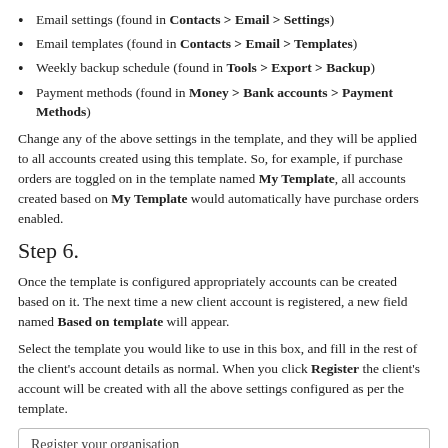Email settings (found in Contacts > Email > Settings)
Email templates (found in Contacts > Email > Templates)
Weekly backup schedule (found in Tools > Export > Backup)
Payment methods (found in Money > Bank accounts > Payment Methods)
Change any of the above settings in the template, and they will be applied to all accounts created using this template. So, for example, if purchase orders are toggled on in the template named My Template, all accounts created based on My Template would automatically have purchase orders enabled.
Step 6.
Once the template is configured appropriately accounts can be created based on it. The next time a new client account is registered, a new field named Based on template will appear.
Select the template you would like to use in this box, and fill in the rest of the client's account details as normal. When you click Register the client's account will be created with all the above settings configured as per the template.
Register your organisation